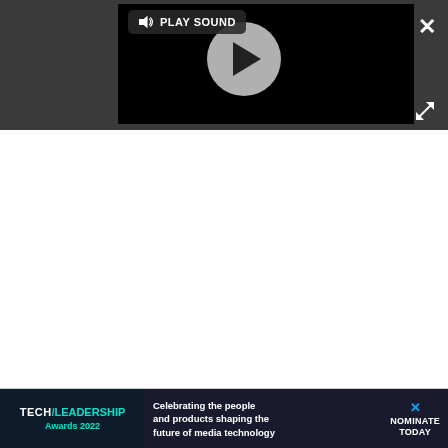[Figure (screenshot): Video player overlay with dark gray background. A black video panel is shown with a 'PLAY SOUND' button with speaker icon in the upper left of the panel, and a gray circular play button in the center. A white X close button appears in the upper right and an expand/fullscreen icon in the lower right of the overlay.]
[Figure (screenshot): Advertisement banner at the bottom: Tech/Leadership Awards 2022 logo on dark background with tagline 'Celebrating the people and products shaping the future of media technology' and a 'NOMINATE TODAY' call to action with a blue X button.]